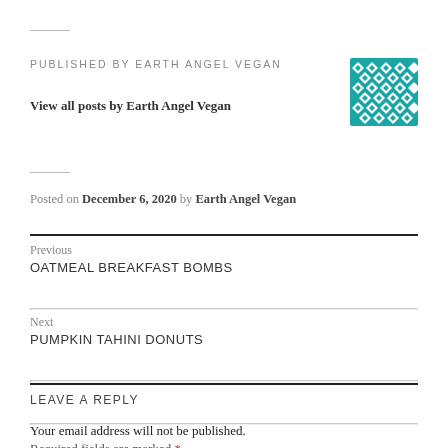PUBLISHED BY EARTH ANGEL VEGAN
[Figure (illustration): Teal geometric diamond/quilt pattern avatar image]
View all posts by Earth Angel Vegan
Posted on December 6, 2020 by Earth Angel Vegan
Previous
OATMEAL BREAKFAST BOMBS
Next
PUMPKIN TAHINI DONUTS
LEAVE A REPLY
Your email address will not be published.
Required fields are marked *